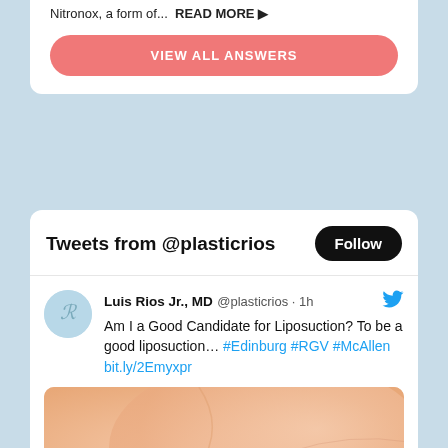Nitronox, a form of...  READ MORE ▶
VIEW ALL ANSWERS
Tweets from @plasticrios
Follow
Luis Rios Jr., MD @plasticrios · 1h
Am I a Good Candidate for Liposuction? To be a good liposuction… #Edinburg #RGV #McAllen bit.ly/2Emyxpr
[Figure (photo): Close-up photo of a person's abdomen/belly area showing skin, used to illustrate liposuction candidacy]